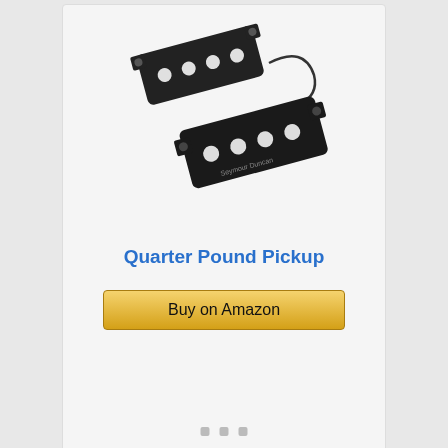[Figure (photo): Two Seymour Duncan Quarter Pound bass guitar pickups, black rectangular pickups with white pole pieces, shown at an angle with a cable attached]
Quarter Pound Pickup
Buy on Amazon